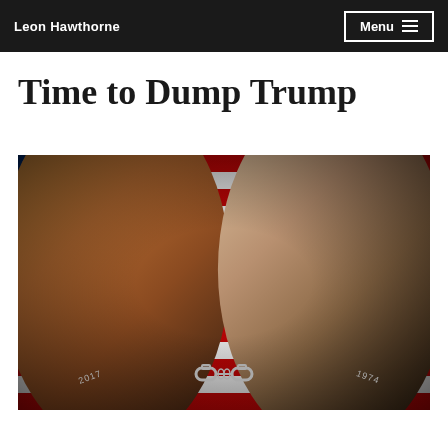Leon Hawthorne  Menu
Time to Dump Trump
[Figure (photo): Side-by-side composite photo of Donald Trump (labeled 2017) on the left and Richard Nixon (labeled 1974) on the right, both against an American flag background, with handcuffs icon between them at the bottom]